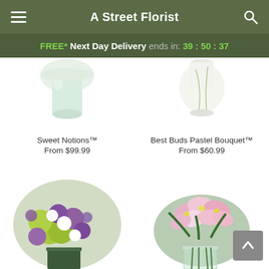A Street Florist
FREE* Next Day Delivery ends in: 39 : 50 : 37
[Figure (photo): Sweet Notions flower arrangement in white vase, partially cropped at top]
Sweet Notions™
From $99.99
[Figure (photo): Best Buds Pastel Bouquet in white vase, partially cropped at top]
Best Buds Pastel Bouquet™
From $60.99
[Figure (photo): Purple roses, green hydrangeas, white daisies arrangement in square green vase]
[Figure (photo): Pink and white alstroemeria flowers in clear glass vase]